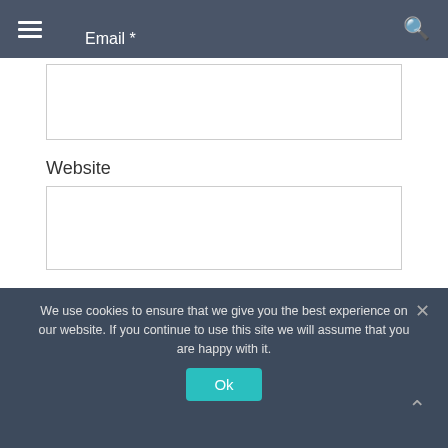Email *
Website
Save my name, email, and website in this browser for the next time I comment.
POST COMMENT
We use cookies to ensure that we give you the best experience on our website. If you continue to use this site we will assume that you are happy with it.
Ok